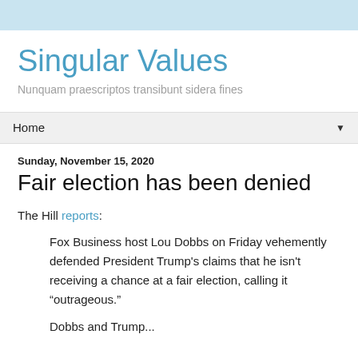Singular Values
Nunquam praescriptos transibunt sidera fines
Home
Sunday, November 15, 2020
Fair election has been denied
The Hill reports:
Fox Business host Lou Dobbs on Friday vehemently defended President Trump's claims that he isn't receiving a chance at a fair election, calling it “outrageous.”
Dobbs and Trump...